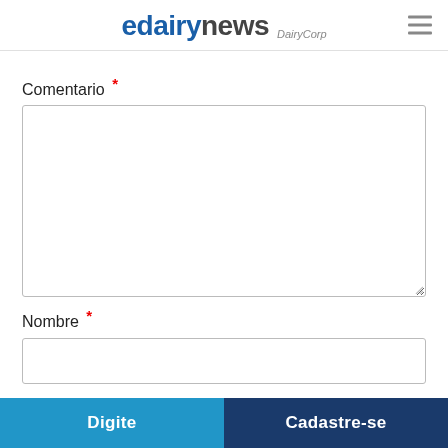edairynews DairyCorp
Comentario *
Nombre *
Correo electrónico *
Digite
Cadastre-se